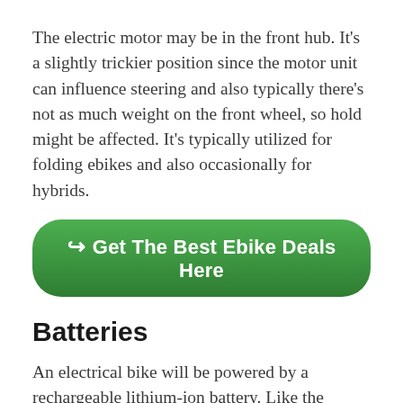The electric motor may be in the front hub. It's a slightly trickier position since the motor unit can influence steering and also typically there's not as much weight on the front wheel, so hold might be affected. It's typically utilized for folding ebikes and also occasionally for hybrids.
[Figure (other): Green rounded rectangle call-to-action button with white bold text reading 'Get The Best Ebike Deals Here' and a cursor/arrow icon]
Batteries
An electrical bike will be powered by a rechargeable lithium-ion battery. Like the batteries in other electric vehicles, they're utilized for their reduced weight and efficiency, in addition to fast reenergizing– typically in a